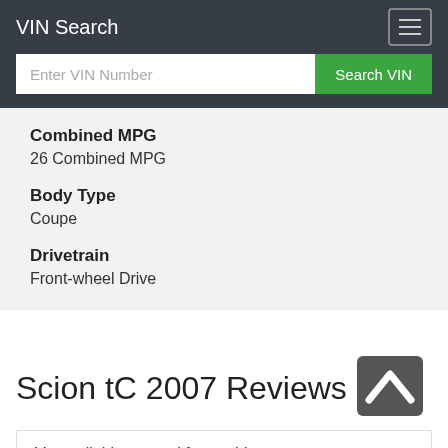VIN Search
Enter VIN Number
Search VIN
Combined MPG
26 Combined MPG
Body Type
Coupe
Drivetrain
Front-wheel Drive
Scion tC 2007 Reviews
Very reliable car and fun to drive.